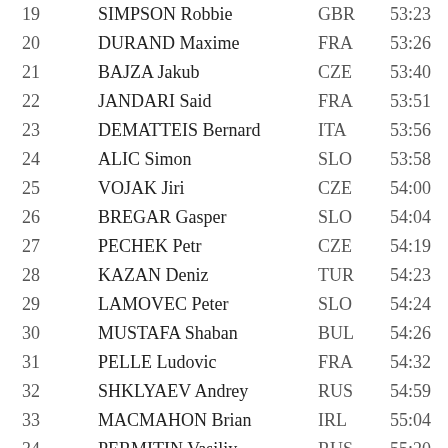| Rank | Name | Country | Time |
| --- | --- | --- | --- |
| 19 | SIMPSON Robbie | GBR | 53:23 |
| 20 | DURAND Maxime | FRA | 53:26 |
| 21 | BAJZA Jakub | CZE | 53:40 |
| 22 | JANDARI Said | FRA | 53:51 |
| 23 | DEMATTEIS Bernard | ITA | 53:56 |
| 24 | ALIC Simon | SLO | 53:58 |
| 25 | VOJAK Jiri | CZE | 54:00 |
| 26 | BREGAR Gasper | SLO | 54:04 |
| 27 | PECHEK Petr | CZE | 54:19 |
| 28 | KAZAN Deniz | TUR | 54:23 |
| 29 | LAMOVEC Peter | SLO | 54:24 |
| 30 | MUSTAFA Shaban | BUL | 54:26 |
| 31 | PELLE Ludovic | FRA | 54:32 |
| 32 | SHKLYAEV Andrey | RUS | 54:59 |
| 33 | MACMAHON Brian | IRL | 55:04 |
| 34 | PERMITIN Vasiliy | RUS | 55:20 |
| 35 | ... | ... | 55:... |